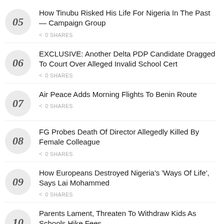05 How Tinubu Risked His Life For Nigeria In The Past — Campaign Group 0 SHARES
06 EXCLUSIVE: Another Delta PDP Candidate Dragged To Court Over Alleged Invalid School Cert 0 SHARES
07 Air Peace Adds Morning Flights To Benin Route 0 SHARES
08 FG Probes Death Of Director Allegedly Killed By Female Colleague 0 SHARES
09 How Europeans Destroyed Nigeria's 'Ways Of Life', Says Lai Mohammed 0 SHARES
10 Parents Lament, Threaten To Withdraw Kids As Schools Hike Fees